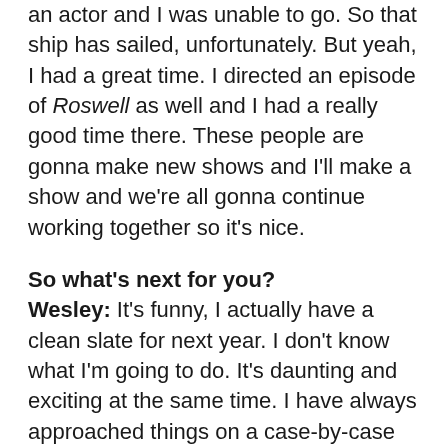an actor and I was unable to go. So that ship has sailed, unfortunately. But yeah, I had a great time. I directed an episode of Roswell as well and I had a really good time there. These people are gonna make new shows and I'll make a show and we're all gonna continue working together so it's nice.
So what's next for you?
Wesley: It's funny, I actually have a clean slate for next year. I don't know what I'm going to do. It's daunting and exciting at the same time. I have always approached things on a case-by-case basis and I look for some form of inspiration somewhere and there's a lot of luck involved and things that fall in your laps sometimes. But I really would love to find